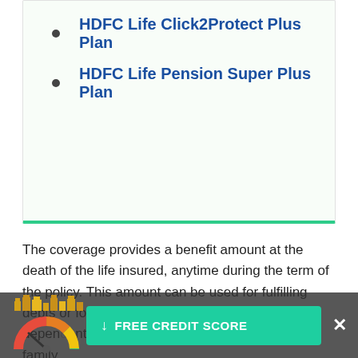HDFC Life Click2Protect Plus Plan
HDFC Life Pension Super Plus Plan
The coverage provides a benefit amount at the death of the life insured, anytime during the term of the policy. This amount can be used for fulfilling debts or for funding the daily expenses of the dependents, hence reducing the burden on the family.
[Figure (infographic): Free Credit Score advertisement overlay banner with gauge/speedometer icon and city skyline icons, green CTA button and X close button]